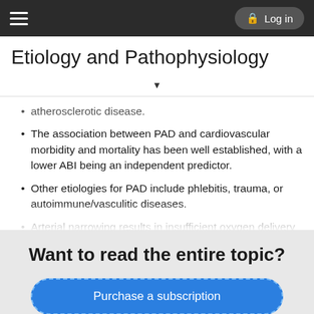Etiology and Pathophysiology | Log in
Etiology and Pathophysiology
atherosclerotic disease.
The association between PAD and cardiovascular morbidity and mortality has been well established, with a lower ABI being an independent predictor.
Other etiologies for PAD include phlebitis, trauma, or autoimmune/vasculitic diseases.
Arterial narrowing results in insufficient oxygen delivery to the muscle during periods of increased demand (i.e., exercise), causing claudication and limiting exercise.
Reperfusion at rest following ischemia can result in multiple subsequent physiologic changes, including inflammation, evident
Want to read the entire topic?
Purchase a subscription
I'm already a subscriber
Browse sample topics